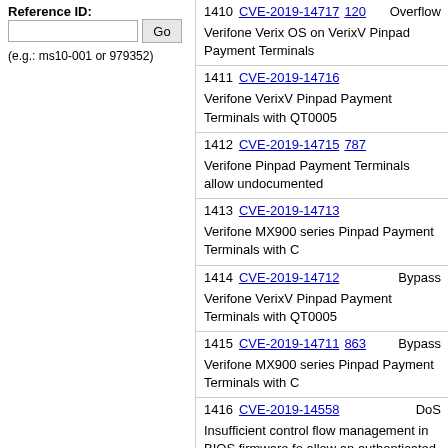Reference ID:
(e.g.: ms10-001 or 979352)
1410 CVE-2019-14717 120  Overflow  Verifone Verix OS on VerixV Pinpad Payment Terminals
1411 CVE-2019-14716  Verifone VerixV Pinpad Payment Terminals with QT0005
1412 CVE-2019-14715 787  Verifone Pinpad Payment Terminals allow undocumented
1413 CVE-2019-14713  Verifone MX900 series Pinpad Payment Terminals with C
1414 CVE-2019-14712  Bypass  Verifone VerixV Pinpad Payment Terminals with QT0005
1415 CVE-2019-14711 863  Bypass  Verifone MX900 series Pinpad Payment Terminals with C
1416 CVE-2019-14558  DoS  Insufficient control flow management in BIOS firmware fo allow an authenticated user to potentially enable denial o